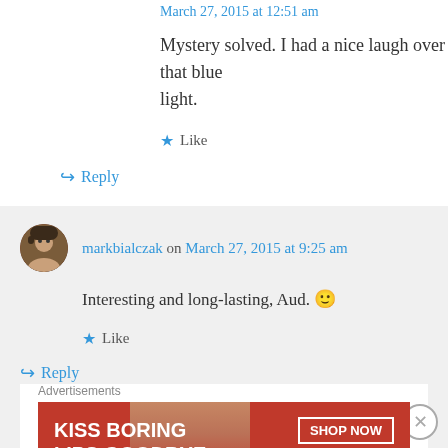March 27, 2015 at 12:51 am
Mystery solved. I had a nice laugh over that blue light.
Like
Reply
markbialczak on March 27, 2015 at 9:25 am
Interesting and long-lasting, Aud. 🙂
Like
Reply
Advertisements
[Figure (photo): Macy's advertisement banner: KISS BORING LIPS GOODBYE with SHOP NOW button and Macy's logo, red background with woman's face]